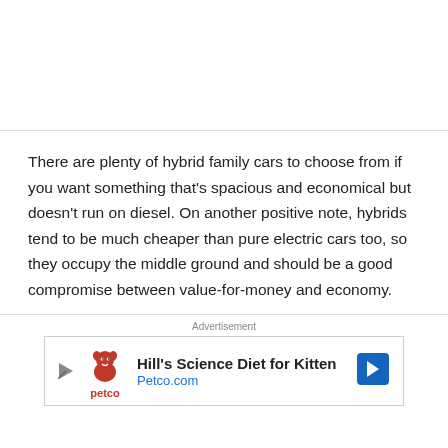There are plenty of hybrid family cars to choose from if you want something that's spacious and economical but doesn't run on diesel. On another positive note, hybrids tend to be much cheaper than pure electric cars too, so they occupy the middle ground and should be a good compromise between value-for-money and economy.
[Figure (other): Advertisement banner for Hill's Science Diet for Kitten at Petco.com, featuring the Petco logo with a dog mascot, text 'Hill's Science Diet for Kitten' and 'Petco.com', with a navigation arrow icon on the right.]